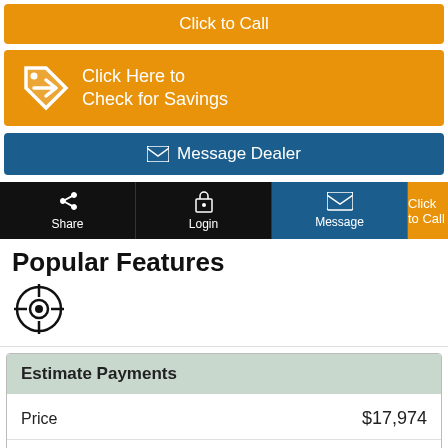Click to Call
Click Here to Check for Savings
Message Dealer
Share
Login
Message
Click to Call
Popular Features
[Figure (illustration): Eye/crosshair icon indicating 360 view feature]
|  |  |
| --- | --- |
| Estimate Payments |  |
| Price | $17,974 |
| Down Payment | 3594 |